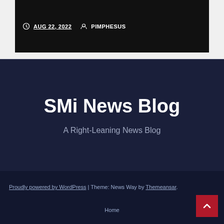AUG 22, 2022  PIMPHESUS
SMi News Blog
A Right-Leaning News Blog
Proudly powered by WordPress | Theme: News Way by Themeansar. Home